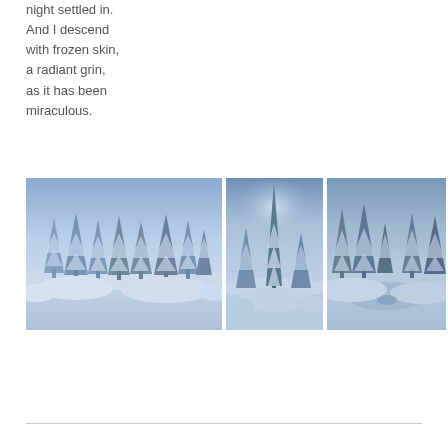night settled in.
And I descend
with frozen skin,
a radiant grin,
as it has been
miraculous.
[Figure (photo): Three winter landscape photographs side by side showing snow-covered conifer trees under a blue twilight sky]